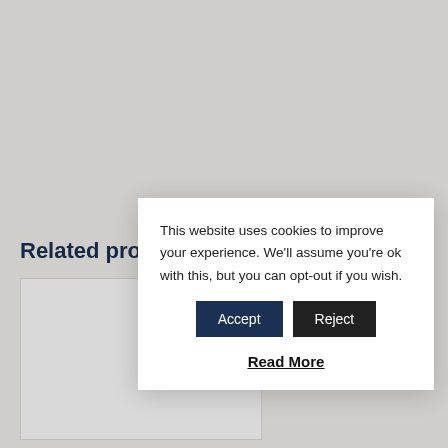Related pro
[Figure (other): Partially visible product card with a bottle image, overlaid by cookie consent modal]
This website uses cookies to improve your experience. We'll assume you're ok with this, but you can opt-out if you wish.
Accept   Reject
Read More